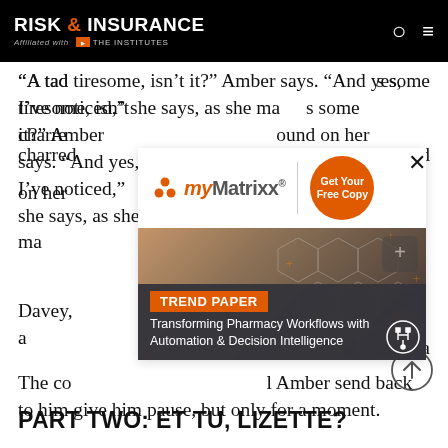RISK & INSURANCE | Affiliated with THE INSTITUTES
“A tad tiresome, isn’t it?” Amber says. “And yes, I’ve noticed,” she says, as she makes some charred ... ound on her
[Figure (infographic): myMatrixx advertisement banner with orange Get Your Free Copy circle button, and a Trend Paper card showing 'Transforming Pharmacy Workflows with Automation & Decision Intelligence' with hexagonal tech imagery background]
Davey, ... few seats a... sts a beaming...
The co... Amber send back to him give him pause, but only for a moment.
PART TWO: ET TU, LIZETTE?